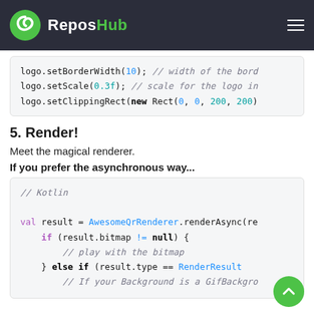ReposHub
logo.setBorderWidth(10); // width of the bord
logo.setScale(0.3f); // scale for the logo in
logo.setClippingRect(new Rect(0, 0, 200, 200)
5. Render!
Meet the magical renderer.
If you prefer the asynchronous way...
// Kotlin

val result = AwesomeQrRenderer.renderAsync(re
    if (result.bitmap != null) {
        // play with the bitmap
    } else if (result.type == RenderResult
        // If your Background is a GifBackgro